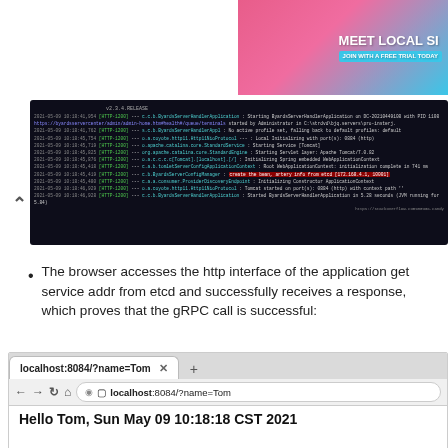[Figure (screenshot): Advertisement banner showing 'MEET LOCAL SI' with a woman and 'JOIN WITH A FREE TRIAL TODAY' button on a pink/teal gradient background]
[Figure (screenshot): Terminal/console output showing application startup logs with colored text including timestamps, class names, and status messages. A red-highlighted line shows server address binding.]
The browser accesses the http interface of the application get service addr from etcd and successfully receives a response, which proves that the gRPC call is successful:
[Figure (screenshot): Browser screenshot showing localhost:8084/?name=Tom in the address bar and displaying 'Hello Tom, Sun May 09 10:18:18 CST 2021' as the page content]